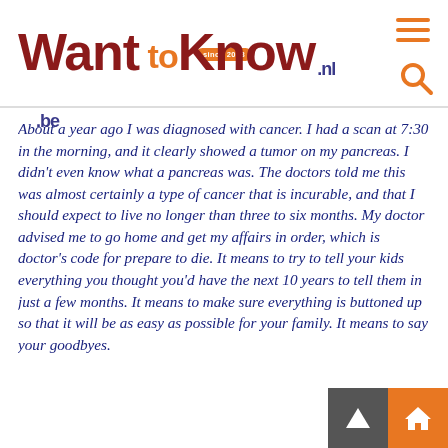WantToKnow.nl.be — since 2008
About a year ago I was diagnosed with cancer. I had a scan at 7:30 in the morning, and it clearly showed a tumor on my pancreas. I didn't even know what a pancreas was. The doctors told me this was almost certainly a type of cancer that is incurable, and that I should expect to live no longer than three to six months. My doctor advised me to go home and get my affairs in order, which is doctor's code for prepare to die. It means to try to tell your kids everything you thought you'd have the next 10 years to tell them in just a few months. It means to make sure everything is buttoned up so that it will be as easy as possible for your family. It means to say your goodbyes.